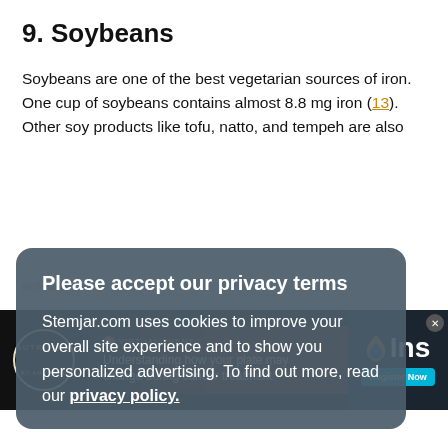9. Soybeans
Soybeans are one of the best vegetarian sources of iron. One cup of soybeans contains almost 8.8 mg iron (13). Other soy products like tofu, natto, and tempeh are also rich sources of iron.
10. Lentils
Lentils contain a substantial amount of non-heme iron per serving. One cooked cup of lentils contains 6.6 mg of iron, which is 37 percent RDI (14). Lentils also contain carbs, folat...
Please accept our privacy terms

Stemjar.com uses cookies to improve your overall site experience and to show you personalized advertising. To find out more, read our privacy policy.
[Figure (screenshot): Advertisement banner for a virtual nutrition event: 'Understanding how your plate may change during cancer treatment' with Nutrition by Ambrose branding and IHN logo with Register Now button.]